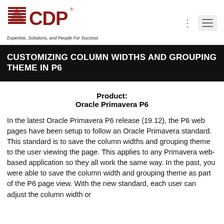[Figure (logo): CDP logo with red mountain/building icon and bold red CDP text with registered trademark symbol]
Expertise, Solutions, and People For Success
CUSTOMIZING COLUMN WIDTHS AND GROUPING THEME IN P6
Product:
Oracle Primavera P6
In the latest Oracle Primavera P6 release (19.12), the P6 web pages have been setup to follow an Oracle Primavera standard. This standard is to save the column widths and grouping theme to the user viewing the page. This applies to any Primavera web-based application so they all work the same way. In the past, you were able to save the column width and grouping theme as part of the P6 page view. With the new standard, each user can adjust the column width or